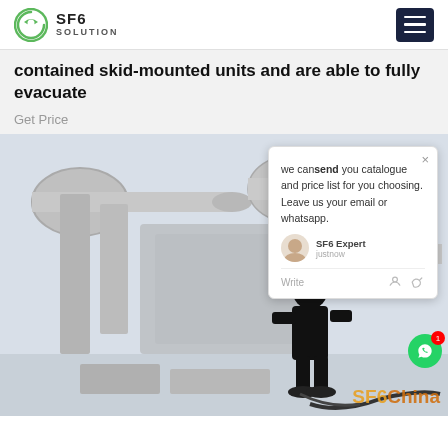SF6 SOLUTION
contained skid-mounted units and are able to fully evacuate
Get Price
[Figure (photo): A technician in black clothing working on large SF6 gas-insulated switchgear (GIS) pipes at an outdoor electrical substation in winter. The equipment consists of large grey cylindrical pipes and fittings. A chat popup overlay is visible on the right side of the image with text: 'we can send you catalogue and price list for you choosing. Leave us your email or whatsapp.' with an SF6 Expert agent label and 'justnow' timestamp. An SF6China watermark is visible in the bottom right corner.]